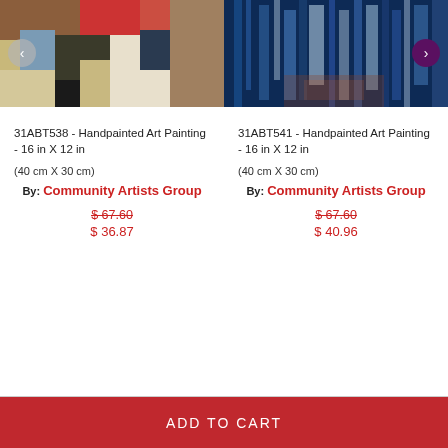[Figure (photo): Two paintings side by side. Left: abstract geometric painting with colored blocks (brown, red, blue, khaki, black, cream). Right: abstract blue vertical streaks painting with dark blue tones and some warm highlights at bottom.]
31ABT538 - Handpainted Art Painting - 16 in X 12 in
(40 cm X 30 cm)
By: Community Artists Group
$ 67.60
$ 36.87
31ABT541 - Handpainted Art Painting - 16 in X 12 in
(40 cm X 30 cm)
By: Community Artists Group
$ 67.60
$ 40.96
ADD TO CART